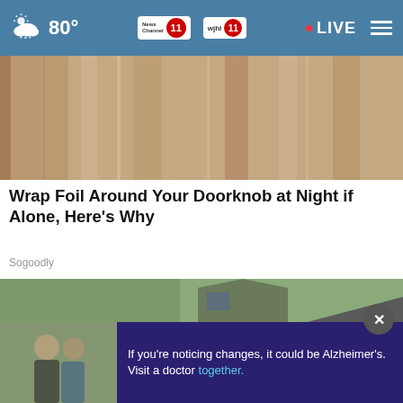80° News Channel 11 wjhl 11 • LIVE
[Figure (photo): Close-up of a wooden door and doorframe, warm brown tones]
Wrap Foil Around Your Doorknob at Night if Alone, Here's Why
Sogoodly
[Figure (photo): Damaged roof with broken and lifted shingles, partially visible house in background]
[Figure (photo): Advertisement banner: two men together with text 'If you're noticing changes, it could be Alzheimer's. Visit a doctor together.']